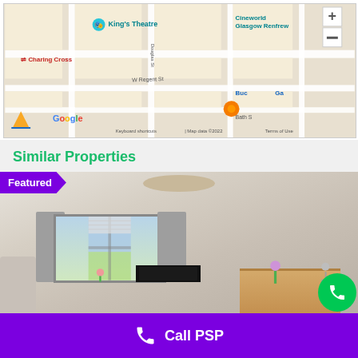[Figure (map): Google Maps screenshot showing area around King's Theatre, Charing Cross, Glasgow Renfrew, Cineworld, with street grid. Shows W Regent St, Douglas St. Map data ©2022. Google logo visible. Zoom +/- buttons.]
Similar Properties
[Figure (photo): Interior photo of a living room with grey curtains, window showing garden, TV on stand, fireplace mantel with orchid plant, ceiling light shade. Featured badge in purple overlaid top-left.]
Call PSP